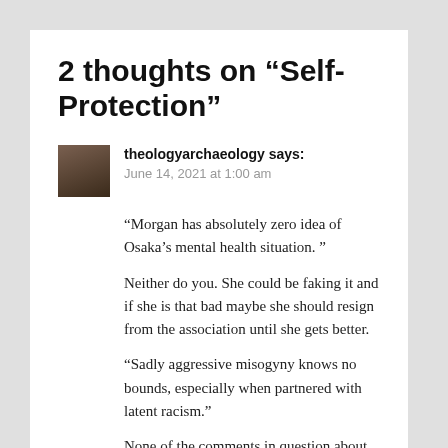2 thoughts on “Self-Protection”
theologyarchaeology says:
June 14, 2021 at 1:00 am
“Morgan has absolutely zero idea of Osaka’s mental health situation. ”
Neither do you. She could be faking it and if she is that bad maybe she should resign from the association until she gets better.
“Sadly aggressive misogyny knows no bounds, especially when partnered with latent racism.”
None of the comments in question about the...